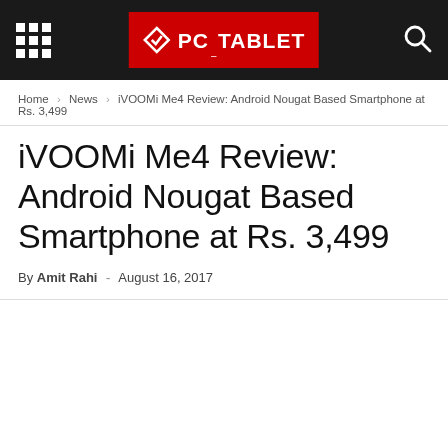PC TABLET
Home › News › iVOOMi Me4 Review: Android Nougat Based Smartphone at Rs. 3,499
iVOOMi Me4 Review: Android Nougat Based Smartphone at Rs. 3,499
By Amit Rahi - August 16, 2017